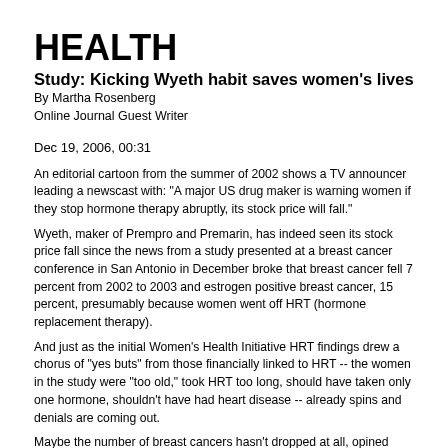HEALTH
Study: Kicking Wyeth habit saves women's lives
By Martha Rosenberg
Online Journal Guest Writer
Dec 19, 2006, 00:31
An editorial cartoon from the summer of 2002 shows a TV announcer leading a newscast with: "A major US drug maker is warning women if they stop hormone therapy abruptly, its stock price will fall."
Wyeth, maker of Prempro and Premarin, has indeed seen its stock price fall since the news from a study presented at a breast cancer conference in San Antonio in December broke that breast cancer fell 7 percent from 2002 to 2003 and estrogen positive breast cancer, 15 percent, presumably because women went off HRT (hormone replacement therapy).
And just as the initial Women's Health Initiative HRT findings drew a chorus of "yes buts" from those financially linked to HRT -- the women in the study were "too old," took HRT too long, should have taken only one hormone, shouldn't have had heart disease -- already spins and denials are coming out.
Maybe the number of breast cancers hasn't dropped at all, opined experts quoted by the ABC News Medical Unit, but mammograms have dropped. (Or the population dropped 15 percent -- did they think of that?)